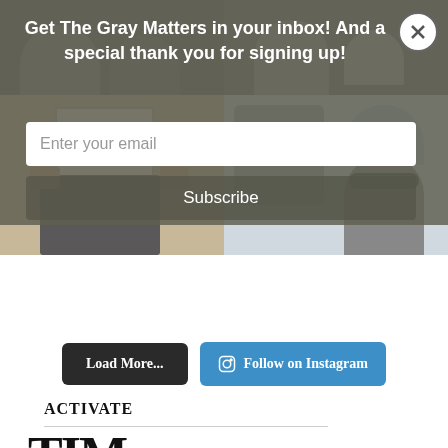[Figure (photo): Instagram photo grid showing people; top row two photos of people; middle row left: person holding FIRST DAY GCA sign; middle row right: person in car with sunglasses]
Get The Gray Matters in your inbox! And a special thank you for signing up!
Enter your email
Subscribe
Load More...
Follow on Instagram
ACTIVATE